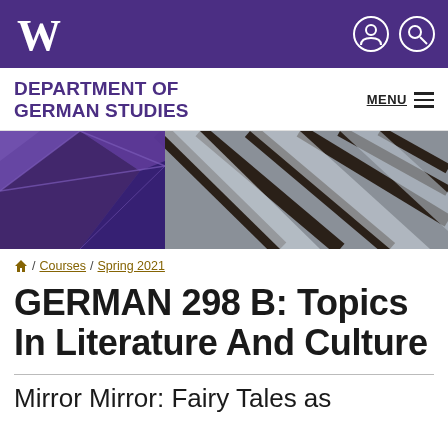University of Washington — Department of German Studies
DEPARTMENT OF GERMAN STUDIES
[Figure (photo): Architectural photo of a building interior with geometric glass ceiling and dark steel beams, partially overlaid with a purple geometric pattern on the left side.]
/ Courses / Spring 2021
GERMAN 298 B: Topics In Literature And Culture
Mirror Mirror: Fairy Tales as